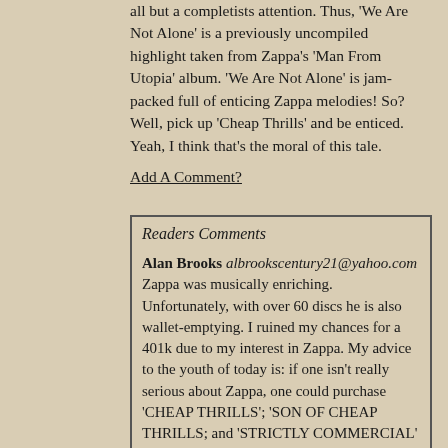all but a completists attention. Thus, 'We Are Not Alone' is a previously uncompiled highlight taken from Zappa's 'Man From Utopia' album. 'We Are Not Alone' is jam-packed full of enticing Zappa melodies! So? Well, pick up 'Cheap Thrills' and be enticed. Yeah, I think that's the moral of this tale.
Add A Comment?
Readers Comments
Alan Brooks albrookscentury21@yahoo.com Zappa was musically enriching. Unfortunately, with over 60 discs he is also wallet-emptying. I ruined my chances for a 401k due to my interest in Zappa. My advice to the youth of today is: if one isn't really serious about Zappa, one could purchase 'CHEAP THRILLS'; 'SON OF CHEAP THRILLS; and 'STRICTLY COMMERCIAL' and thus have a 360 degree panorama of Zappa's work. CHEAP THRILLS and SON OF CHEAP THRILLS, especially, are the Zappa bargains